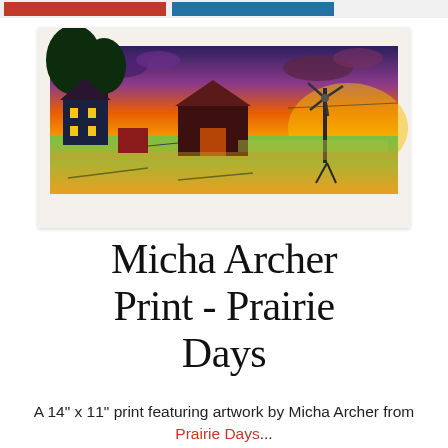[Figure (illustration): A colorful art print showing a prairie scene at sunset with a farmhouse, barn, trees, windmill, and golden fields under a dramatic orange and purple sky.]
Micha Archer Print - Prairie Days
A 14" x 11" print featuring artwork by Micha Archer from Prairie Days...